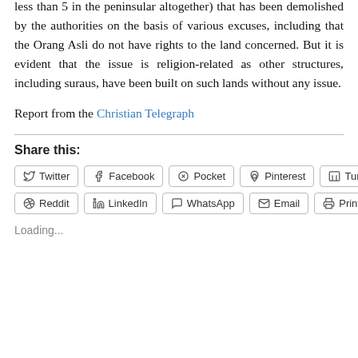less than 5 in the peninsular altogether) that has been demolished by the authorities on the basis of various excuses, including that the Orang Asli do not have rights to the land concerned. But it is evident that the issue is religion-related as other structures, including suraus, have been built on such lands without any issue.
Report from the Christian Telegraph
Share this:
Twitter
Facebook
Pocket
Pinterest
Tumblr
Reddit
LinkedIn
WhatsApp
Email
Print
Loading...